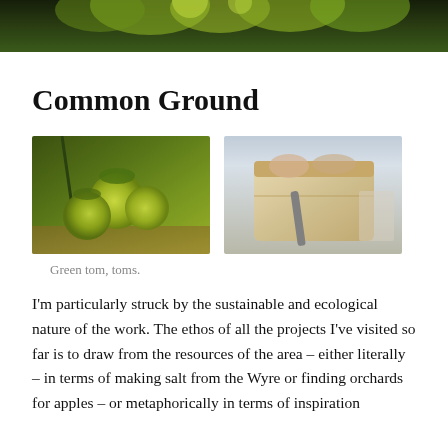[Figure (photo): Top header photo: close-up of green plant/foliage with dark green background]
Common Ground
[Figure (photo): Left photo: green tomatoes on the vine]
[Figure (photo): Right photo: hands slicing a loaf of bread with a knife on a cutting board]
Green tom, toms.
I’m particularly struck by the sustainable and ecological nature of the work. The ethos of all the projects I’ve visited so far is to draw from the resources of the area – either literally – in terms of making salt from the Wyre or finding orchards for apples – or metaphorically in terms of inspiration